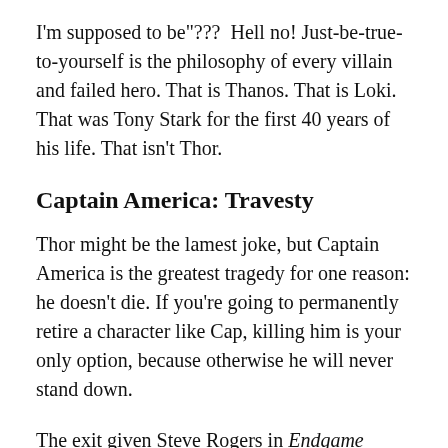I'm supposed to be"???  Hell no! Just-be-true-to-yourself is the philosophy of every villain and failed hero. That is Thanos. That is Loki. That was Tony Stark for the first 40 years of his life. That isn't Thor.
Captain America: Travesty
Thor might be the lamest joke, but Captain America is the greatest tragedy for one reason: he doesn't die. If you're going to permanently retire a character like Cap, killing him is your only option, because otherwise he will never stand down.
The exit given Steve Rogers in Endgame disgraces him on two counts. First, it squanders the opportunity to clinch his hectic relationship with